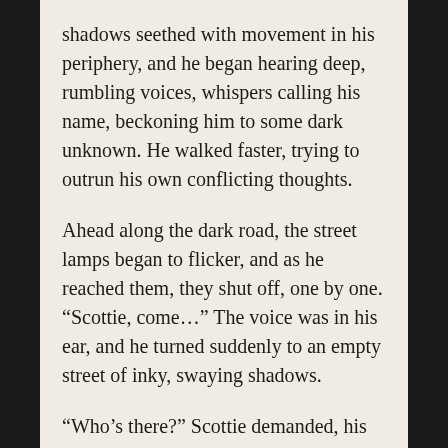shadows seethed with movement in his periphery, and he began hearing deep, rumbling voices, whispers calling his name, beckoning him to some dark unknown. He walked faster, trying to outrun his own conflicting thoughts.
Ahead along the dark road, the street lamps began to flicker, and as he reached them, they shut off, one by one. “Scottie, come…” The voice was in his ear, and he turned suddenly to an empty street of inky, swaying shadows.
“Who’s there?” Scottie demanded, his heart racing. The night wind whispered in the trees and bushes, dead leaves danced across the blacktop. Anger began to take him over, like a black cloud of ink suffusing into crystal clear water. His palms began to sweat.
Suddenly, Scottie was distracted by a light strobing